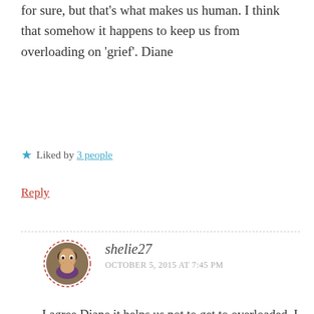for sure, but that's what makes us human. I think that somehow it happens to keep us from overloading on 'grief'. Diane
★ Liked by 3 people
Reply
[Figure (photo): Avatar photo of shelie27 — a woman with dark hair wearing a purple top, shown in a circular dashed-border frame]
shelie27
OCTOBER 5, 2015 AT 7:45 PM
I agree Diane it helps us not to get to overloaded. I-am often thankful that I have found that in life. We both know it can get dark but there is always something keeping us up. Thank always for your kind words